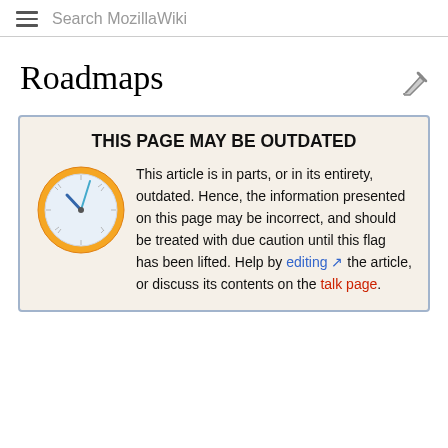Search MozillaWiki
Roadmaps
THIS PAGE MAY BE OUTDATED
This article is in parts, or in its entirety, outdated. Hence, the information presented on this page may be incorrect, and should be treated with due caution until this flag has been lifted. Help by editing the article, or discuss its contents on the talk page.